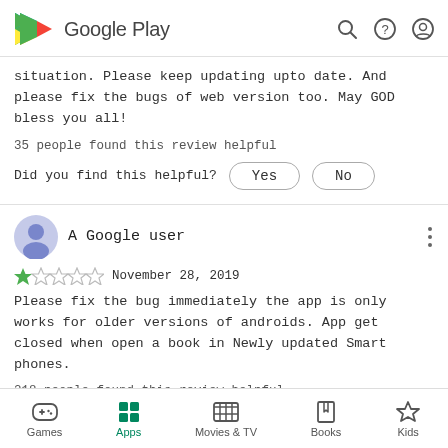Google Play
situation. Please keep updating upto date. And please fix the bugs of web version too. May GOD bless you all!
35 people found this review helpful
Did you find this helpful? Yes No
A Google user
November 28, 2019 — 1 star rating
Please fix the bug immediately the app is only works for older versions of androids. App get closed when open a book in Newly updated Smart phones.
218 people found this review helpful
Games  Apps  Movies & TV  Books  Kids